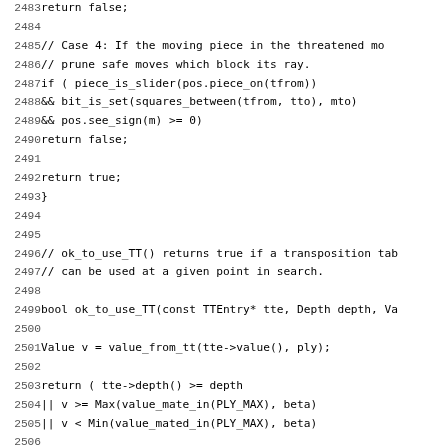Source code listing lines 2483-2515, C++ chess engine code showing functions for piece movement validation and transposition table usage.